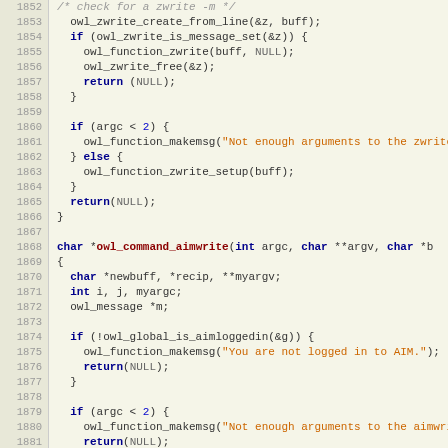[Figure (screenshot): Source code view showing C code lines 1852-1881 with syntax highlighting. Line numbers in left gutter, code with colored keywords, strings, and function names on cream/beige background.]